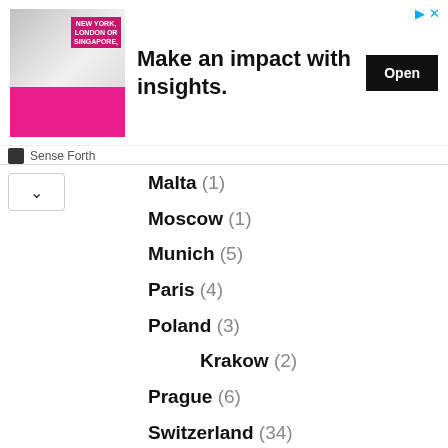[Figure (other): Advertisement banner: image of man with charts, text 'NEW YORK, LONDON OR SINGAPORE,' and headline 'Make an impact with insights.' with Open button. Brand: Sense Forth.]
Malta (1)
Moscow (1)
Munich (5)
Paris (4)
Poland (3)
Krakow (2)
Prague (6)
Switzerland (34)
Basel (5)
Bern (3)
Swiss Alps (1)
Zermatt (3)
Zurich (4)
Greek Islands (25)